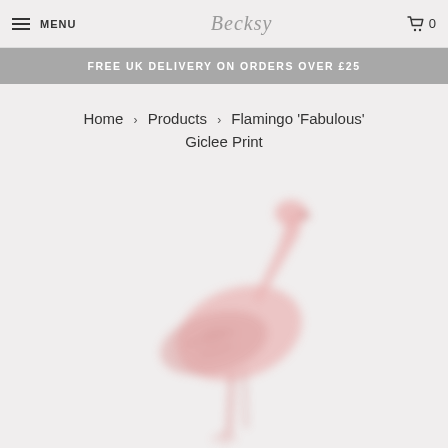MENU | Becksy logo | 0 (cart)
FREE UK DELIVERY ON ORDERS OVER £25
Home > Products > Flamingo 'Fabulous' Giclee Print
[Figure (illustration): A blurred/soft-focus illustration of a pink flamingo standing on one leg against a light grey background]